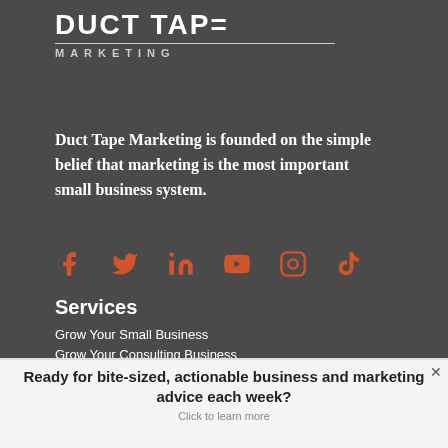[Figure (logo): Duct Tape Marketing logo — bold white text 'DUCT TAPE' with stylized broken letters, subtitle 'MARKETING' in spaced caps below a horizontal rule]
Duct Tape Marketing is founded on the simple belief that marketing is the most important small business system.
[Figure (infographic): Social media icons in orange: Facebook, Twitter/X, LinkedIn, YouTube, Instagram, TikTok]
Services
Grow Your Small Business
Grow Your Consulting Business
Ready for bite-sized, actionable business and marketing advice each week?
Click to learn more